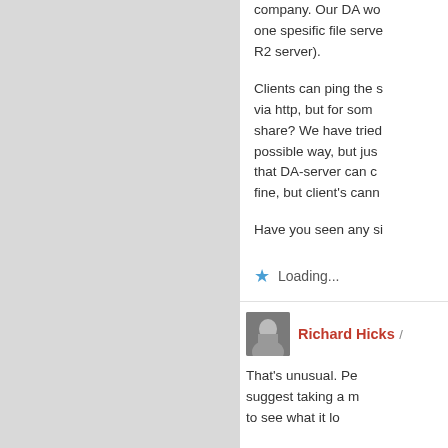company. Our DA wo one spesific file serve R2 server).
Clients can ping the s via http, but for som share? We have tried possible way, but jus that DA-server can c fine, but client's cann
Have you seen any si
Loading...
Richard Hicks / ...
That's unusual. Pe suggest taking a m to see what it lo